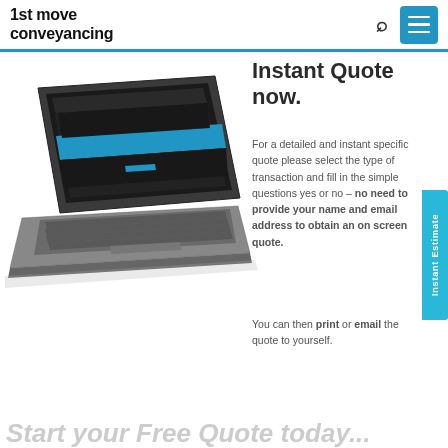1st move conveyancing
[Figure (photo): Laptop computer showing the 1st Move Conveyancing website with a blue banner on screen, photographed at an angle]
Instant Quote now.
For a detailed and instant specific quote please select the type of transaction and fill in the simple questions yes or no – no need to provide your name and email address to obtain an on screen quote.
You can then print or email the quote to yourself.
Instant Estimate
Start your Free Quote today...